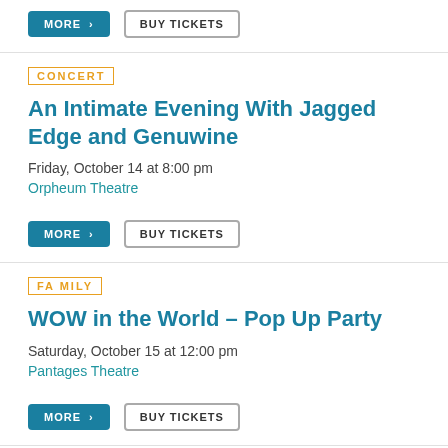MORE > BUY TICKETS
CONCERT
An Intimate Evening With Jagged Edge and Genuwine
Friday, October 14 at 8:00 pm
Orpheum Theatre
MORE > BUY TICKETS
FAMILY
WOW in the World – Pop Up Party
Saturday, October 15 at 12:00 pm
Pantages Theatre
MORE > BUY TICKETS
COMEDY